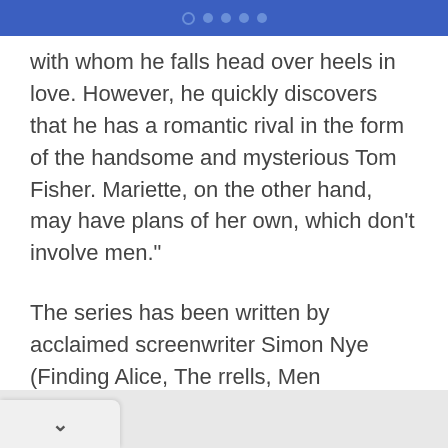● ● ● ●
with whom he falls head over heels in love. However, he quickly discovers that he has a romantic rival in the form of the handsome and mysterious Tom Fisher. Mariette, on the other hand, may have plans of her own, which don't involve men."
The series has been written by acclaimed screenwriter Simon Nye (Finding Alice, The rrells, Men Behaving Badly) with the aim of